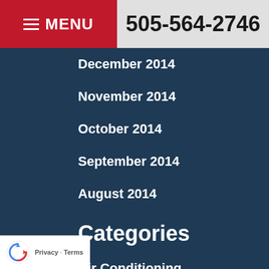MENU  505-564-2746
December 2014
November 2014
October 2014
September 2014
August 2014
Categories
Air Conditioning
Awards
Commercial HVAC